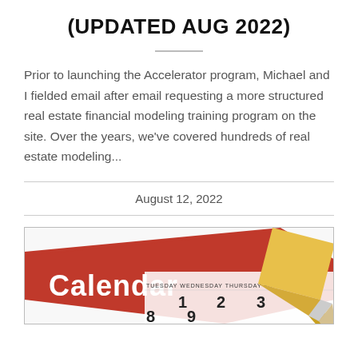(UPDATED AUG 2022)
Prior to launching the Accelerator program, Michael and I fielded email after email requesting a more structured real estate financial modeling training program on the site. Over the years, we've covered hundreds of real estate modeling...
August 12, 2022
[Figure (photo): A photo of a calendar with a pencil resting on it, showing the word 'Calendar' on a red banner with days of the week and numbers visible beneath.]